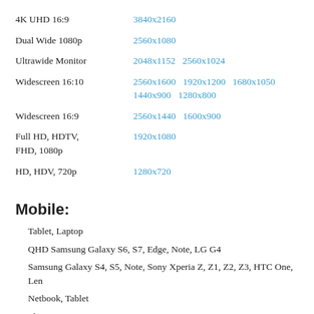4K UHD 16:9 — 3840x2160
Dual Wide 1080p — 2560x1080
Ultrawide Monitor — 2048x1152  2560x1024
Widescreen 16:10 — 2560x1600  1920x1200  1680x1050  1440x900  1280x800
Widescreen 16:9 — 2560x1440  1600x900
Full HD, HDTV, FHD, 1080p — 1920x1080
HD, HDV, 720p — 1280x720
Mobile:
Tablet, Laptop
QHD Samsung Galaxy S6, S7, Edge, Note, LG G4
Samsung Galaxy S4, S5, Note, Sony Xperia Z, Z1, Z2, Z3, HTC One, Len
Netbook, Tablet
PlayStation PS Vita